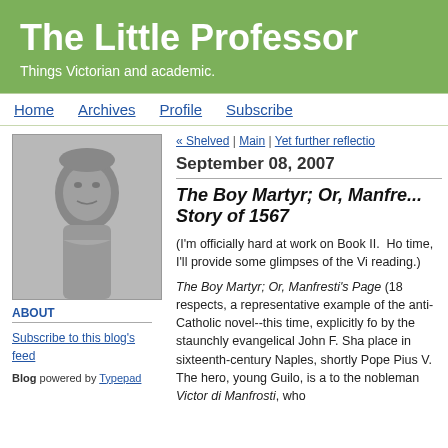The Little Professor
Things Victorian and academic.
Home | Archives | Profile | Subscribe
[Figure (photo): Black and white portrait photo of a woman]
ABOUT
Subscribe to this blog's feed
Blog powered by Typepad
« Shelved | Main | Yet further reflection
September 08, 2007
The Boy Martyr; Or, Manfre... Story of 1567
(I'm officially hard at work on Book II.  Ho time, I'll provide some glimpses of the Vi reading.)
The Boy Martyr; Or, Manfresti's Page (18 respects, a representative example of the anti-Catholic novel--this time, explicitly fo by the staunchly evangelical John F. Sha place in sixteenth-century Naples, shortly Pope Pius V.  The hero, young Guilo, is a to the nobleman Victor di Manfrosti, who